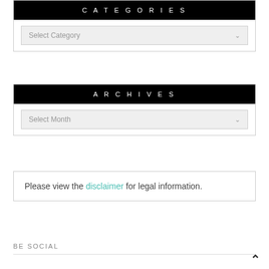CATEGORIES
Select Category
ARCHIVES
Select Month
Please view the disclaimer for legal information.
BE SOCIAL